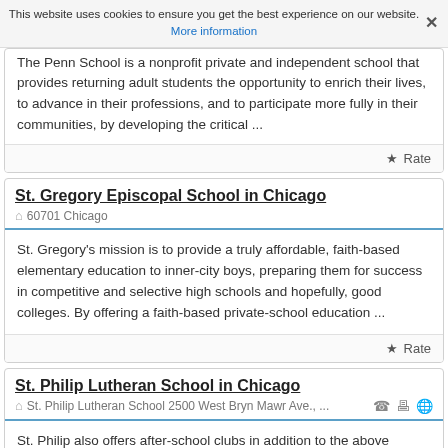This website uses cookies to ensure you get the best experience on our website. More information ×
The Penn School is a nonprofit private and independent school that provides returning adult students the opportunity to enrich their lives, to advance in their professions, and to participate more fully in their communities, by developing the critical ...
★ Rate
St. Gregory Episcopal School in Chicago
🏠 60701 Chicago
St. Gregory's mission is to provide a truly affordable, faith-based elementary education to inner-city boys, preparing them for success in competitive and selective high schools and hopefully, good colleges. By offering a faith-based private-school education ...
★ Rate
St. Philip Lutheran School in Chicago
🏠 St. Philip Lutheran School 2500 West Bryn Mawr Ave., ...
St. Philip also offers after-school clubs in addition to the above programs. Past students have participated in art club, dance club